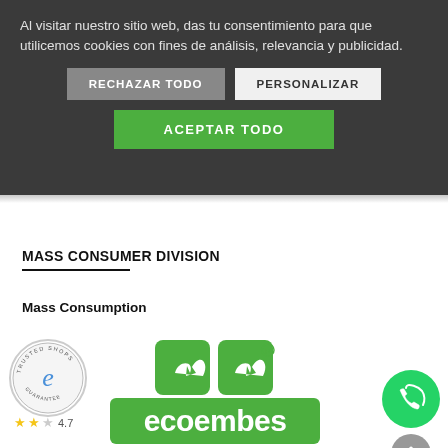Al visitar nuestro sitio web, das tu consentimiento para que utilicemos cookies con fines de análisis, relevancia y publicidad.
RECHAZAR TODO
PERSONALIZAR
ACEPTAR TODO
MASS CONSUMER DIVISION
Mass Consumption
[Figure (logo): Trusted Shops circular badge with stylized 'e' and stars]
[Figure (logo): Ecoembes logo - green recycling symbol with brand name in green]
[Figure (logo): WhatsApp green circular button and gray scroll-up button]